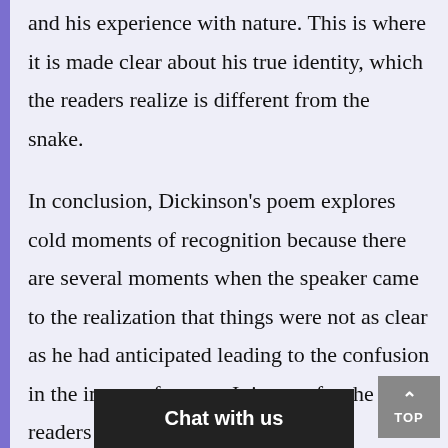and his experience with nature. This is where it is made clear about his true identity, which the readers realize is different from the snake.
In conclusion, Dickinson’s poem explores cold moments of recognition because there are several moments when the speaker came to the realization that things were not as clear as he had anticipated leading to the confusion in the image of nature. It is easy for the readers to relate to this po... ...t in